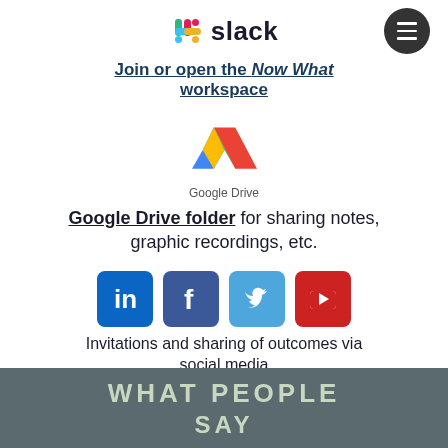[Figure (logo): Slack logo with colorful hash icon and 'slack' wordmark, with dark circular menu button in top right]
Join or open the Now What workspace
[Figure (logo): Google Drive triangle logo with Google Drive label]
Google Drive folder for sharing notes, graphic recordings, etc.
[Figure (infographic): Four social media icons: LinkedIn (blue), Facebook (dark blue), Twitter (light blue), YouTube (red)]
Invitations and sharing of outcomes via social media (click on icons to connect)
WHAT PEOPLE SAY